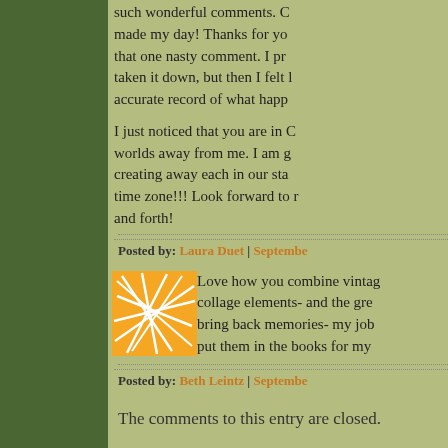such wonderful comments. C... made my day! Thanks for yo... that one nasty comment. I pr... taken it down, but then I felt l... accurate record of what happ...
I just noticed that you are in C... worlds away from me. I am g... creating away each in our sta... time zone!!! Look forward to r... and forth!
Posted by: Laura Duet | Septembe...
[Figure (illustration): Orange square avatar with abstract white line pattern on orange background]
Love how you combine vintag... collage elements- and the gre... bring back memories- my job... put them in the books for my...
Posted by: Beth Leintz | Septembe...
The comments to this entry are closed.